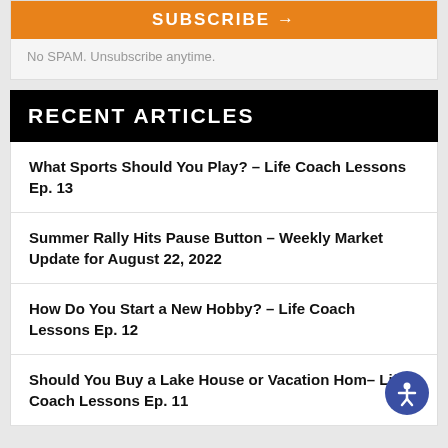[Figure (other): Orange SUBSCRIBE button at top of page]
No SPAM. Unsubscribe anytime.
RECENT ARTICLES
What Sports Should You Play? – Life Coach Lessons Ep. 13
Summer Rally Hits Pause Button – Weekly Market Update for August 22, 2022
How Do You Start a New Hobby? – Life Coach Lessons Ep. 12
Should You Buy a Lake House or Vacation Home – Life Coach Lessons Ep. 11